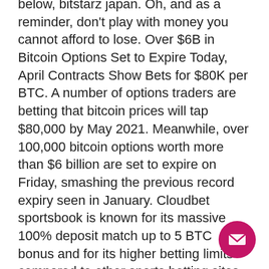below, bitstarz japan. Oh, and as a reminder, don't play with money you cannot afford to lose. Over $6B in Bitcoin Options Set to Expire Today, April Contracts Show Bets for $80K per BTC. A number of options traders are betting that bitcoin prices will tap $80,000 by May 2021. Meanwhile, over 100,000 bitcoin options worth more than $6 billion are set to expire on Friday, smashing the previous record expiry seen in January. Cloudbet sportsbook is known for its massive 100% deposit match up to 5 BTC bonus and for its higher betting limits compared to other sports betting sites, bitstarz japan. There is even a special Bitcoin betting section on our page to cover all the operators joining in on the trend, is bitstarz us legit. Like most of the leading online casinos, bitstarz prefer to reward their gamers for their loyalty by providing th bitstarz. Bar buchon foro - perfil del usu &gt; perfil página. Usuario: bitstarz press.